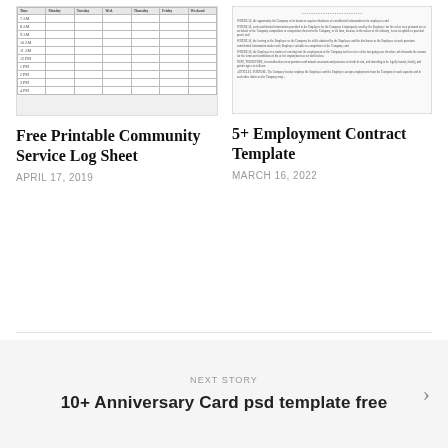[Figure (table-as-image): Thumbnail of a community service log sheet with columns for Time, Monday, Tuesday, Wed., Thursday, Friday, Weekend and rows for time slots from 7AM to 4PM]
Free Printable Community Service Log Sheet
APRIL 17, 2019
[Figure (screenshot): Thumbnail of an employment contract template document with legal WHEREAS clauses and NOW, THEREFORE paragraph text]
5+ Employment Contract Template
MARCH 16, 2022
NEXT STORY
10+ Anniversary Card psd template free